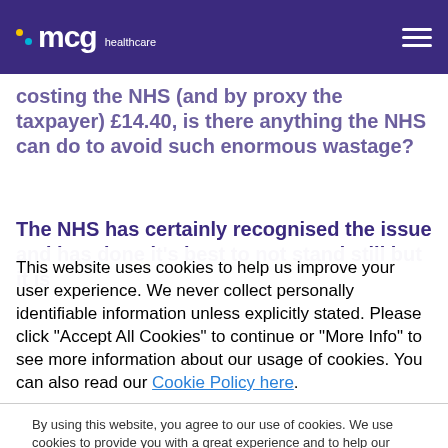MCG Healthcare
costing the NHS (and by proxy the taxpayer) £14.40, is there anything the NHS can do to avoid such enormous wastage?
The NHS has certainly recognised the issue and has done it's best to not stand still but it is
This website uses cookies to help us improve your user experience. We never collect personally identifiable information unless explicitly stated. Please click "Accept All Cookies" to continue or "More Info" to see more information about our usage of cookies. You can also read our Cookie Policy here.
By using this website, you agree to our use of cookies. We use cookies to provide you with a great experience and to help our website run effectively.